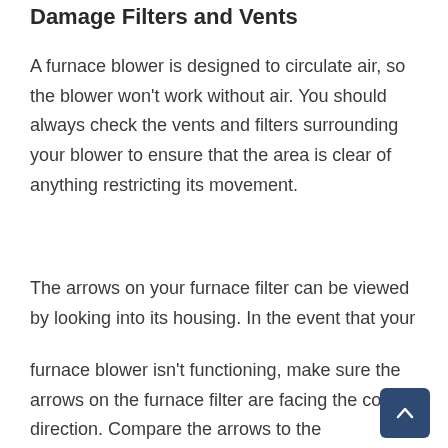Damage Filters and Vents
A furnace blower is designed to circulate air, so the blower won't work without air. You should always check the vents and filters surrounding your blower to ensure that the area is clear of anything restricting its movement.
The arrows on your furnace filter can be viewed by looking into its housing. In the event that your
furnace blower isn't functioning, make sure the arrows on the furnace filter are facing the correct direction. Compare the arrows to the corresponding marking on your furnace filter